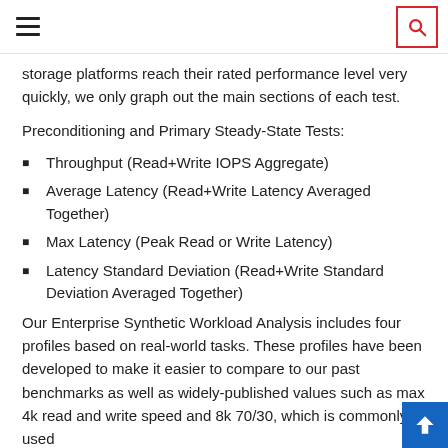storage platforms reach their rated performance level very quickly, we only graph out the main sections of each test.
Preconditioning and Primary Steady-State Tests:
Throughput (Read+Write IOPS Aggregate)
Average Latency (Read+Write Latency Averaged Together)
Max Latency (Peak Read or Write Latency)
Latency Standard Deviation (Read+Write Standard Deviation Averaged Together)
Our Enterprise Synthetic Workload Analysis includes four profiles based on real-world tasks. These profiles have been developed to make it easier to compare to our past benchmarks as well as widely-published values such as max 4k read and write speed and 8k 70/30, which is commonly used for enterprise storage.